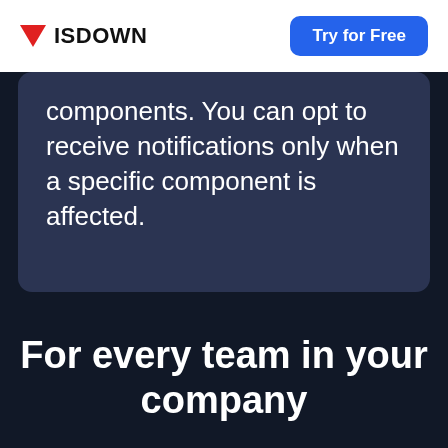ISDOWN | Try for Free
components. You can opt to receive notifications only when a specific component is affected.
For every team in your company